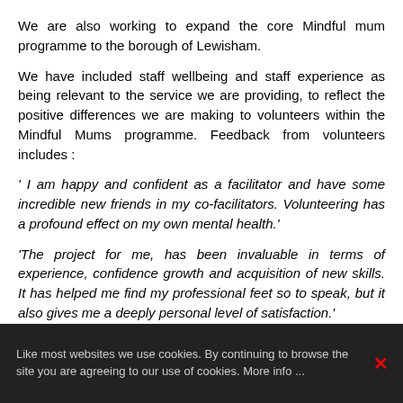We are also working to expand the core Mindful mum programme to the borough of Lewisham.
We have included staff wellbeing and staff experience as being relevant to the service we are providing, to reflect the positive differences we are making to volunteers within the Mindful Mums programme. Feedback from volunteers includes :
' I am happy and confident as a facilitator and have some incredible new friends in my co-facilitators. Volunteering has a profound effect on my own mental health.'
'The project for me, has been invaluable in terms of experience, confidence growth and acquisition of new skills. It has helped me find my professional feet so to speak, but it also gives me a deeply personal level of satisfaction.'
Like most websites we use cookies. By continuing to browse the site you are agreeing to our use of cookies. More info ...